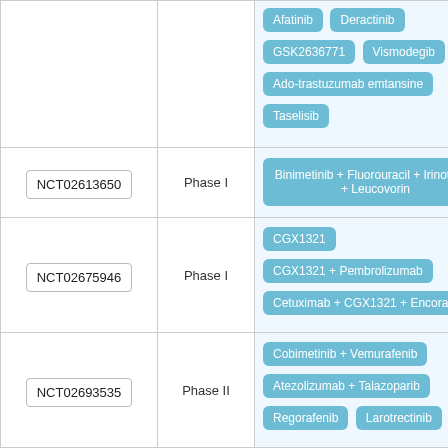| NCT ID | Phase | Drugs |
| --- | --- | --- |
|  |  | Afatinib | Deractinib
GSK2636771 | Vismodegib
Ado-trastuzumab emtansine
Taselisib |
| NCT02613650 | Phase I | Binimetinib + Fluorouracil + Irinotecan + Leucovorin |
| NCT02675946 | Phase I | CGX1321
CGX1321 + Pembrolizumab
Cetuximab + CGX1321 + Encorafenib |
| NCT02693535 | Phase II | Cobimetinib + Vemurafenib
Atezolizumab + Talazoparib
Regorafenib | Larotrectinib |